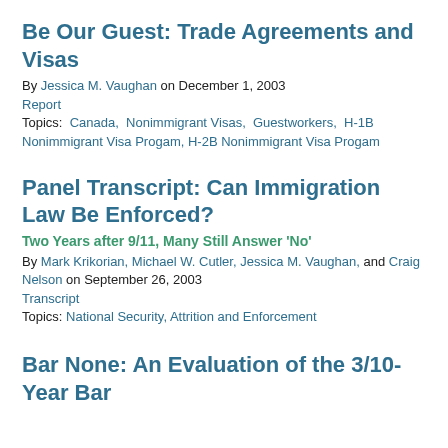Be Our Guest: Trade Agreements and Visas
By Jessica M. Vaughan on December 1, 2003
Report
Topics: Canada, Nonimmigrant Visas, Guestworkers, H-1B Nonimmigrant Visa Progam, H-2B Nonimmigrant Visa Progam
Panel Transcript: Can Immigration Law Be Enforced?
Two Years after 9/11, Many Still Answer 'No'
By Mark Krikorian, Michael W. Cutler, Jessica M. Vaughan, and Craig Nelson on September 26, 2003
Transcript
Topics: National Security, Attrition and Enforcement
Bar None: An Evaluation of the 3/10-Year Bar